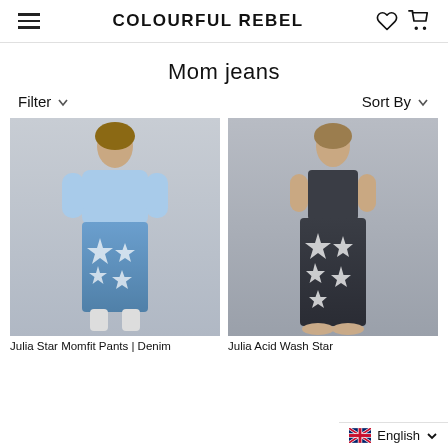COLOURFUL REBEL
Mom jeans
Filter   Sort By
[Figure (photo): Woman wearing blue denim star-print mom fit pants with a light blue cropped jacket and white boots]
[Figure (photo): Woman wearing dark/black acid wash star-print mom jeans with a dark sleeveless top and beige shoes]
Julia Star Momfit Pants | Denim
Julia Acid Wash Star
English